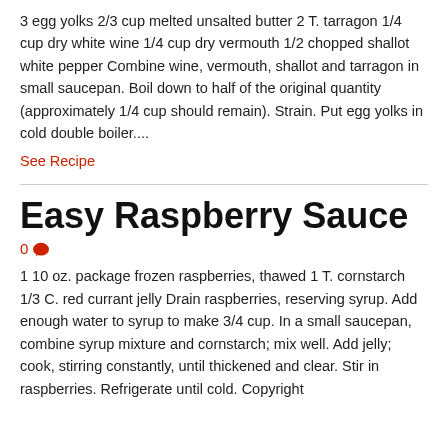3 egg yolks 2/3 cup melted unsalted butter 2 T. tarragon 1/4 cup dry white wine 1/4 cup dry vermouth 1/2 chopped shallot white pepper Combine wine, vermouth, shallot and tarragon in small saucepan. Boil down to half of the original quantity (approximately 1/4 cup should remain). Strain. Put egg yolks in cold double boiler....
See Recipe
Easy Raspberry Sauce
0 [comment icon]
1 10 oz. package frozen raspberries, thawed 1 T. cornstarch 1/3 C. red currant jelly Drain raspberries, reserving syrup. Add enough water to syrup to make 3/4 cup. In a small saucepan, combine syrup mixture and cornstarch; mix well. Add jelly; cook, stirring constantly, until thickened and clear. Stir in raspberries. Refrigerate until cold. Copyright